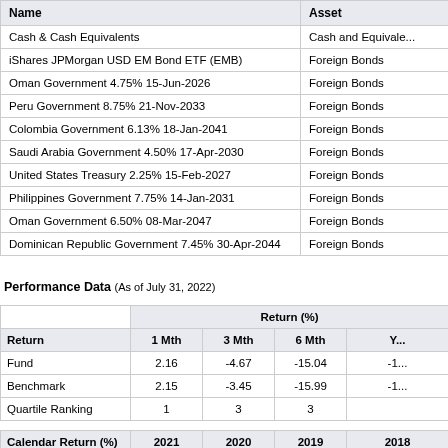| Name | Asset |
| --- | --- |
| Cash & Cash Equivalents | Cash and Equivale... |
| iShares JPMorgan USD EM Bond ETF (EMB) | Foreign Bonds |
| Oman Government 4.75% 15-Jun-2026 | Foreign Bonds |
| Peru Government 8.75% 21-Nov-2033 | Foreign Bonds |
| Colombia Government 6.13% 18-Jan-2041 | Foreign Bonds |
| Saudi Arabia Government 4.50% 17-Apr-2030 | Foreign Bonds |
| United States Treasury 2.25% 15-Feb-2027 | Foreign Bonds |
| Philippines Government 7.75% 14-Jan-2031 | Foreign Bonds |
| Oman Government 6.50% 08-Mar-2047 | Foreign Bonds |
| Dominican Republic Government 7.45% 30-Apr-2044 | Foreign Bonds |
Performance Data (As of July 31, 2022)
| Return | Return (%) 1 Mth | Return (%) 3 Mth | Return (%) 6 Mth | Return (%) Y... |
| --- | --- | --- | --- | --- |
| Fund | 2.16 | -4.67 | -15.04 | -1... |
| Benchmark | 2.15 | -3.45 | -15.99 | -1... |
| Quartile Ranking | 1 | 3 | 3 |  |
| Calendar Return (%) | 2021 | 2020 | 2019 | 2018 |
| --- | --- | --- | --- | --- |